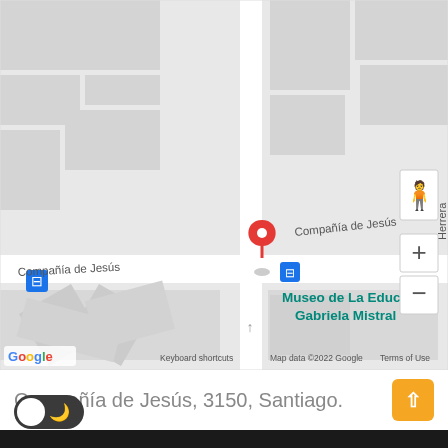[Figure (map): Google Maps screenshot showing Compañía de Jesús street in Santiago, Chile. A red map pin marks the location of Museo de La Educación Gabriela Mistral. Street labels show 'Compañía de Jesús' and 'Herrera'. Map controls (zoom +/-, pegman) visible on right side. Google logo and 'Keyboard shortcuts | Map data ©2022 Google | Terms of Use' shown at bottom.]
Compañía de Jesús, 3150, Santiago.